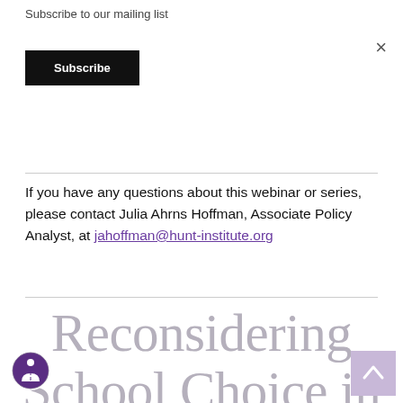Subscribe to our mailing list
Subscribe
×
If you have any questions about this webinar or series, please contact Julia Ahrns Hoffman, Associate Policy Analyst, at jahoffman@hunt-institute.org
Reconsidering School Choice in